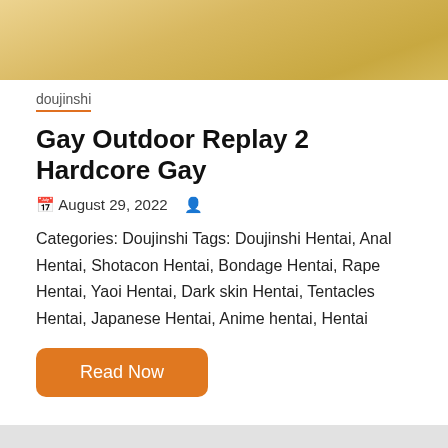[Figure (illustration): Top cropped manga/anime illustration with warm yellow-brown tones]
doujinshi
Gay Outdoor Replay 2 Hardcore Gay
August 29, 2022
Categories: Doujinshi Tags: Doujinshi Hentai, Anal Hentai, Shotacon Hentai, Bondage Hentai, Rape Hentai, Yaoi Hentai, Dark skin Hentai, Tentacles Hentai, Japanese Hentai, Anime hentai, Hentai
Read Now
[Figure (illustration): Bottom cropped manga cover image with red/pink tones, Japanese text, otomechime text, and 成年コミック badge]